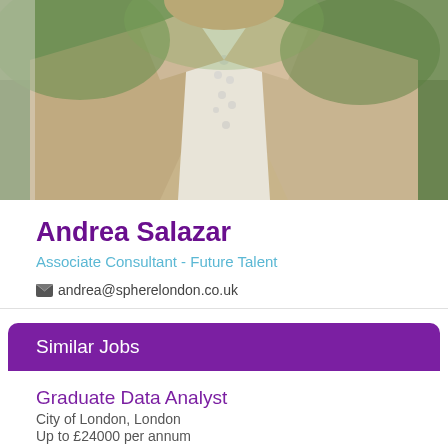[Figure (photo): Photo of Andrea Salazar wearing a beige trench coat over a white embellished top, with greenery in the background]
Andrea Salazar
Associate Consultant - Future Talent
andrea@spherelondon.co.uk
Similar Jobs
Graduate Data Analyst
City of London, London
Up to £24000 per annum
Graduate Data Analyst
London, England
Negotiable